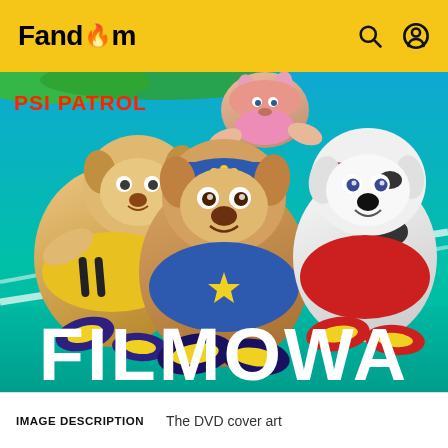Fandom
[Figure (illustration): DVD cover art for PSI Patrol (PAW Patrol) showing animated cartoon dogs - Rubble, Chase, Marshall, and Skye - running on a blue athletic track. Large white text 'FILMOWA' appears on a teal background at the bottom of the cover.]
IMAGE DESCRIPTION   The DVD cover art